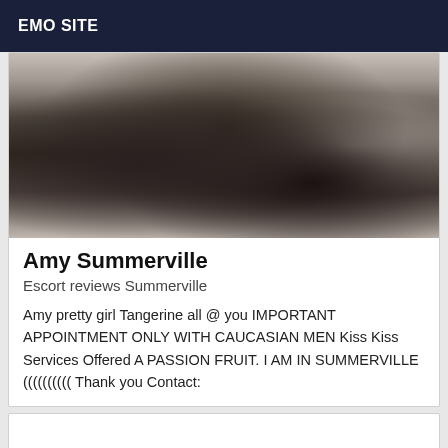EMO SITE
[Figure (photo): Close-up photo of a person wearing black fishnet/lace bodysuit lying on white bedding]
Amy Summerville
Escort reviews Summerville
Amy pretty girl Tangerine all @ you IMPORTANT APPOINTMENT ONLY WITH CAUCASIAN MEN Kiss Kiss Services Offered A PASSION FRUIT. I AM IN SUMMERVILLE (((((((((( Thank you Contact: